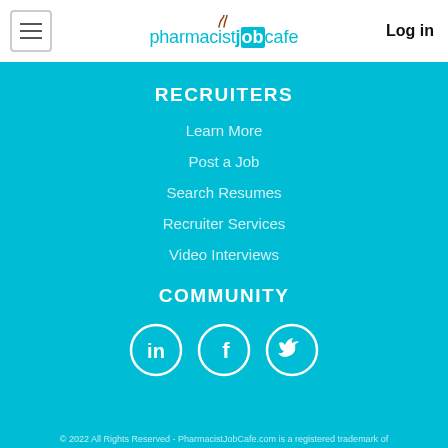[Figure (logo): PharmacistJobCafe logo with coffee cup steam icon and text 'pharmacistjobcafe' with Log in button]
RECRUITERS
Learn More
Post a Job
Search Resumes
Recruiter Services
Video Interviews
COMMUNITY
[Figure (illustration): Social media icons: LinkedIn, Facebook, Twitter — white circles on teal background]
© 2022 All Rights Reserved - PharmacistJobCafe.com is a registered trademark of